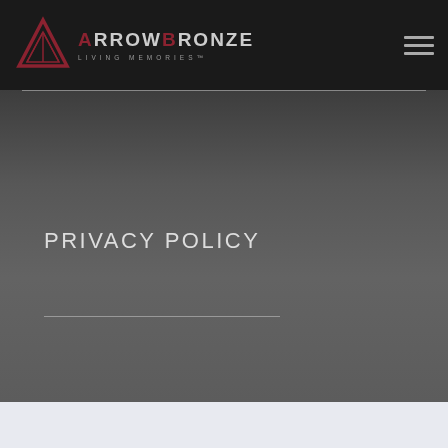[Figure (logo): Arrow Bronze logo with triangle arrow icon and text ARROWBRONZE LIVING MEMORIES]
PRIVACY POLICY